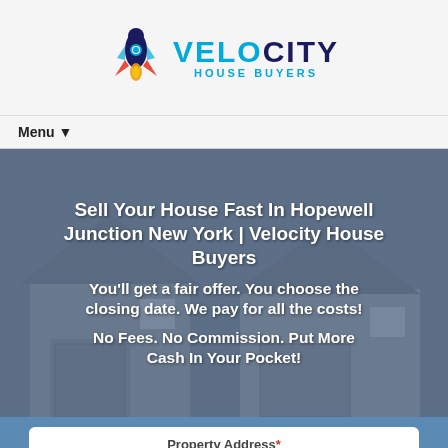[Figure (logo): Velocity House Buyers logo with rocket icon, VELOCITY in dark blue/cyan and HOUSE BUYERS in cyan subtitle]
Menu ▼
Sell Your House Fast In Hopewell Junction New York | Velocity House Buyers
You'll get a fair offer. You choose the closing date. We pay for all the costs!
No Fees. No Commission. Put More Cash In Your Pocket!
Property Address* Enter Your Address